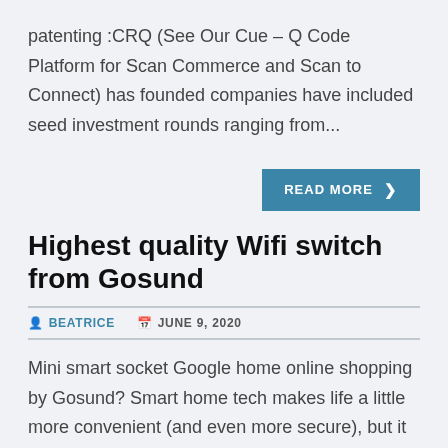patenting :CRQ (See Our Cue – Q Code Platform for Scan Commerce and Scan to Connect) has founded companies have included seed investment rounds ranging from...
READ MORE >
Highest quality Wifi switch from Gosund
BEATRICE   JUNE 9, 2020
Mini smart socket Google home online shopping by Gosund? Smart home tech makes life a little more convenient (and even more secure), but it can also